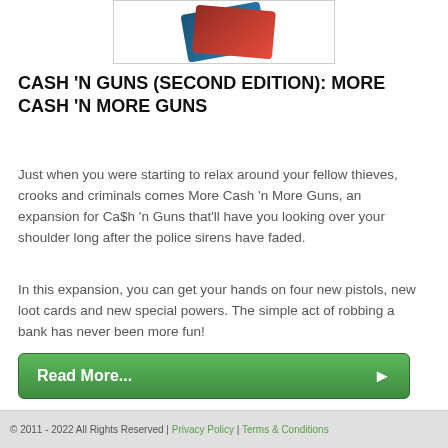[Figure (photo): Product image of Cash 'n Guns (Second Edition) board game box, partially visible at top]
CASH 'N GUNS (SECOND EDITION): MORE CASH 'N MORE GUNS
Just when you were starting to relax around your fellow thieves, crooks and criminals comes More Cash 'n More Guns, an expansion for Ca$h 'n Guns that'll have you looking over your shoulder long after the police sirens have faded.
In this expansion, you can get your hands on four new pistols, new loot cards and new special powers. The simple act of robbing a bank has never been more fun!
Read More...
© 2011 - 2022 All Rights Reserved | Privacy Policy | Terms & Conditions